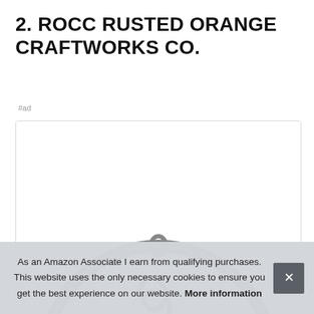2. ROCC RUSTED ORANGE CRAFTWORKS CO.
#ad
[Figure (photo): Product photo of a metal ring/monogram wall hanging ornament, showing the upper arc of a circular metal frame with a small loop at the top for hanging, displayed within a card/box with a light border.]
As an Amazon Associate I earn from qualifying purchases. This website uses the only necessary cookies to ensure you get the best experience on our website. More information